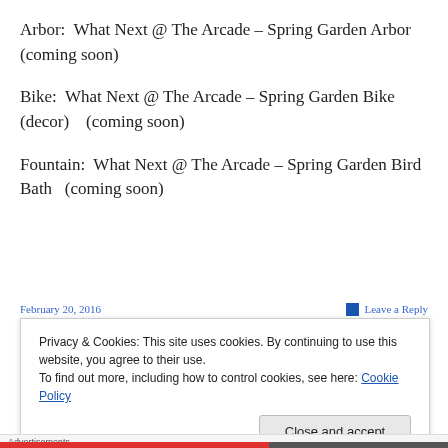Arbor:  What Next @ The Arcade – Spring Garden Arbor (coming soon)
Bike:  What Next @ The Arcade – Spring Garden Bike (decor)    (coming soon)
Fountain:  What Next @ The Arcade – Spring Garden Bird Bath    (coming soon)
February 20, 2016   Leave a Reply
Privacy & Cookies: This site uses cookies. By continuing to use this website, you agree to their use.
To find out more, including how to control cookies, see here: Cookie Policy
Close and accept
Advertisements